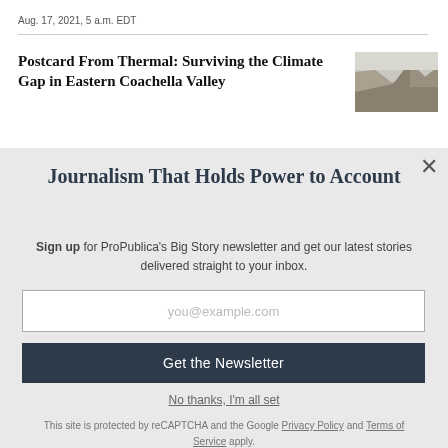Aug. 17, 2021, 5 a.m. EDT
Postcard From Thermal: Surviving the Climate Gap in Eastern Coachella Valley
[Figure (photo): Thumbnail photo of mountains in Eastern Coachella Valley area]
Journalism That Holds Power to Account
Sign up for ProPublica's Big Story newsletter and get our latest stories delivered straight to your inbox.
you@example.com
Get the Newsletter
No thanks, I'm all set
This site is protected by reCAPTCHA and the Google Privacy Policy and Terms of Service apply.